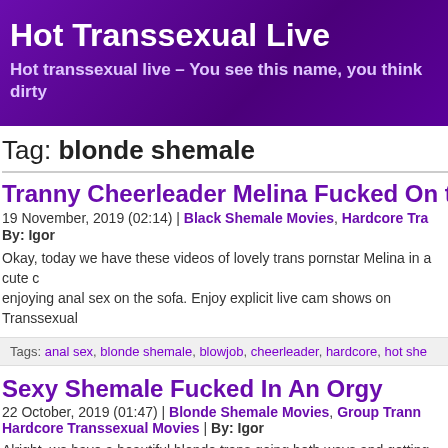Hot Transsexual Live
Hot transsexual live – You see this name, you think dirty
Tag: blonde shemale
Tranny Cheerleader Melina Fucked On the S
19 November, 2019 (02:14) | Black Shemale Movies, Hardcore Tr… By: Igor
Okay, today we have these videos of lovely trans pornstar Melina in a cute c… enjoying anal sex on the sofa. Enjoy explicit live cam shows on Transsexual…
Tags: anal sex, blonde shemale, blowjob, cheerleader, hardcore, hot she…
Sexy Shemale Fucked In An Orgy
22 October, 2019 (01:47) | Blonde Shemale Movies, Group Trann… Hardcore Transsexual Movies | By: Igor
Alright, we have a beautiful blonde trans going both ways and getting her…